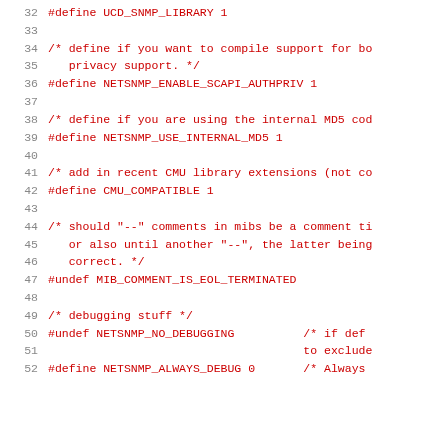32    #define UCD_SNMP_LIBRARY 1
33    
34    /* define if you want to compile support for bo
35       privacy support. */
36    #define NETSNMP_ENABLE_SCAPI_AUTHPRIV 1
37    
38    /* define if you are using the internal MD5 cod
39    #define NETSNMP_USE_INTERNAL_MD5 1
40    
41    /* add in recent CMU library extensions (not co
42    #define CMU_COMPATIBLE 1
43    
44    /* should "--" comments in mibs be a comment ti
45       or also until another "--", the latter being
46       correct. */
47    #undef MIB_COMMENT_IS_EOL_TERMINATED
48    
49    /* debugging stuff */
50    #undef NETSNMP_NO_DEBUGGING              /* if def
51                                             to exclude
52    #define NETSNMP_ALWAYS_DEBUG 0           /* Always